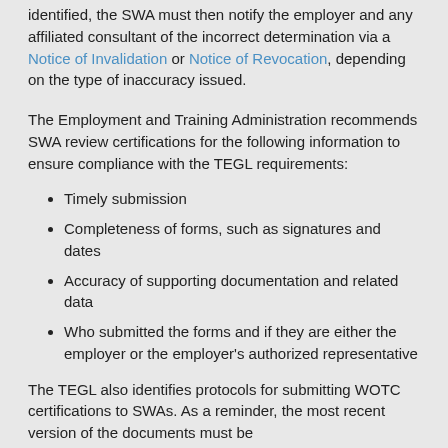identified, the SWA must then notify the employer and any affiliated consultant of the incorrect determination via a Notice of Invalidation or Notice of Revocation, depending on the type of inaccuracy issued.
The Employment and Training Administration recommends SWA review certifications for the following information to ensure compliance with the TEGL requirements:
Timely submission
Completeness of forms, such as signatures and dates
Accuracy of supporting documentation and related data
Who submitted the forms and if they are either the employer or the employer's authorized representative
The TEGL also identifies protocols for submitting WOTC certifications to SWAs. As a reminder, the most recent version of the documents must be